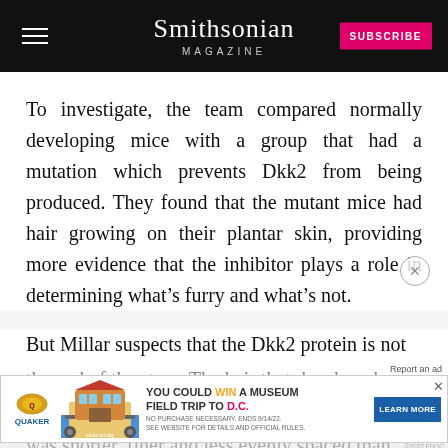Smithsonian MAGAZINE
To investigate, the team compared normally developing mice with a group that had a mutation which prevents Dkk2 from being produced. They found that the mutant mice had hair growing on their plantar skin, providing more evidence that the inhibitor plays a role in determining what’s furry and what’s not.
But Millar suspects that the Dkk2 protein is not the end of the story. The hair that developed on the p... ion was shorter, finer and less evenly spaced than